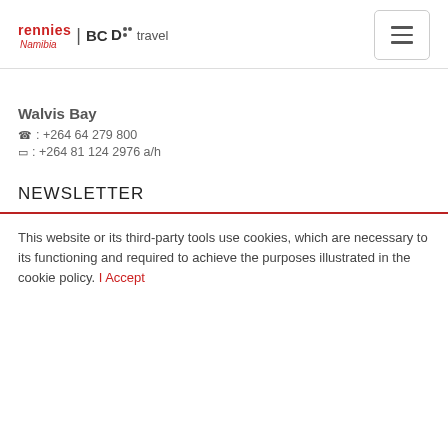[Figure (logo): Rennies Namibia | BCD travel logo with hamburger menu button]
Walvis Bay
☎ : +264 64 279 800
▭ : +264 81 124 2976 a/h
NEWSLETTER
This website or its third-party tools use cookies, which are necessary to its functioning and required to achieve the purposes illustrated in the cookie policy. I Accept